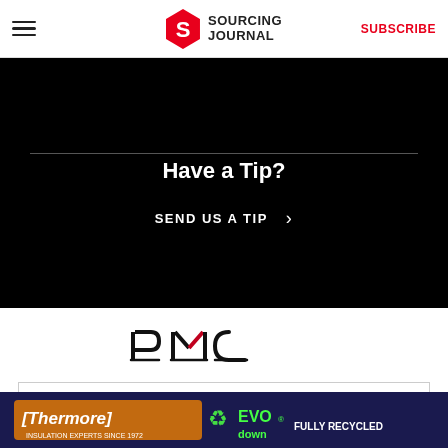Sourcing Journal — SUBSCRIBE
[Figure (illustration): Black banner with horizontal divider line, centered text 'Have a Tip?' and button 'SEND US A TIP >']
[Figure (logo): PMC logo in black with a red chevron accent]
OUR SITES
[Figure (illustration): Thermore EVO down ad banner: orange Thermore logo, recycling icon, green EVO down text on dark blue background]